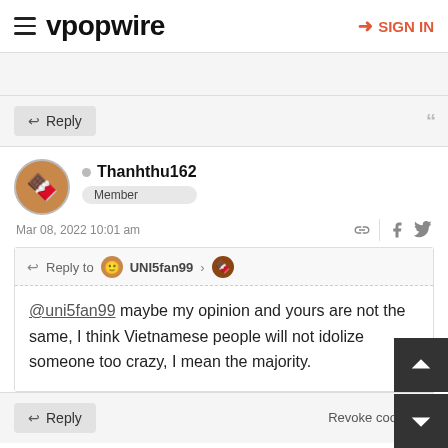vpopwire — SIGN IN
Reply
Thanhthu162 Member Mar 08, 2022 10:01 am
Reply to UNI5fan99
@uni5fan99 maybe my opinion and yours are not the same, I think Vietnamese people will not idolize someone too crazy, I mean the majority.
Reply Revoke cookies